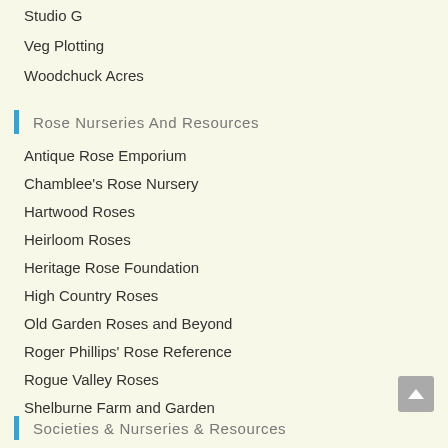Studio G
Veg Plotting
Woodchuck Acres
Rose Nurseries And Resources
Antique Rose Emporium
Chamblee's Rose Nursery
Hartwood Roses
Heirloom Roses
Heritage Rose Foundation
High Country Roses
Old Garden Roses and Beyond
Roger Phillips' Rose Reference
Rogue Valley Roses
Shelburne Farm and Garden
Vintage Gardens Antique Roses
Societies & Nurseries & Resources